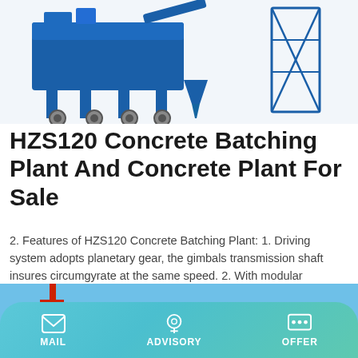[Figure (photo): Blue concrete batching plant equipment on white background with structural frame/tower]
HZS120 Concrete Batching Plant And Concrete Plant For Sale
2. Features of HZS120 Concrete Batching Plant: 1. Driving system adopts planetary gear, the gimbals transmission shaft insures circumgyrate at the same speed. 2. With modular structure design, easy to disassembly. 3. Lubrication system adopts advanced centralized …
[Figure (photo): Yellow concrete mixer/batching plant equipment against blue sky with red crane visible]
MAIL   ADVISORY   OFFER